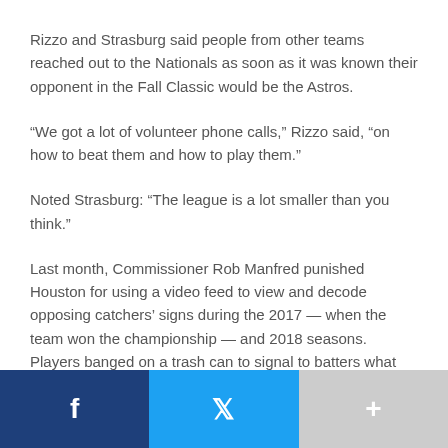Rizzo and Strasburg said people from other teams reached out to the Nationals as soon as it was known their opponent in the Fall Classic would be the Astros.
“We got a lot of volunteer phone calls,” Rizzo said, “on how to beat them and how to play them.”
Noted Strasburg: “The league is a lot smaller than you think.”
Last month, Commissioner Rob Manfred punished Houston for using a video feed to view and decode opposing catchers’ signs during the 2017 — when the team won the championship — and 2018 seasons. Players banged on a trash can to signal to batters what pitch was coming, believing it would improve chances of getting a hit.
Rizzo made a point of saying the Astros “cheated to win the World Series.”
[Figure (infographic): Social share bar with three buttons: Facebook (dark blue with f icon), Twitter (light blue with bird icon), and More (gray with + icon)]